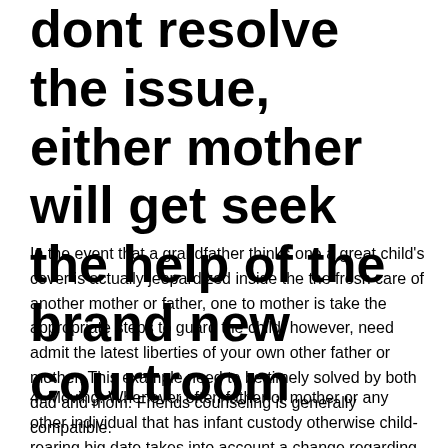dont resolve the issue, either mother will get seek the help of the brand new courtroom
In the event that a grandfather thinks one a great child's cover is actually jeopardized inside the the fresh care of another mother or father, one to mother is take the appropriate steps to guard the child, however, need admit the latest liberties of your own other father or mother. This example need to be timely solved by both dad and mom. Friends counseling is generally compatible.
4. Moving. Whenever often father or mother or any other individual that has infant custody otherwise child-rearing big date takes into account a change regarding house, a 30 day improve